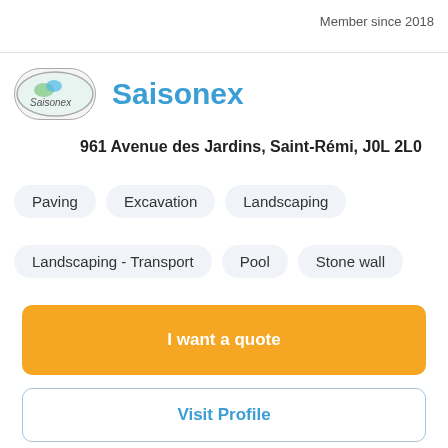Member since 2018
[Figure (logo): Saisonex company logo — oval/ellipse shaped logo with green and blue imagery and text 'Saisonex']
Saisonex
961 Avenue des Jardins, Saint-Rémi, J0L 2L0
Paving
Excavation
Landscaping
Landscaping - Transport
Pool
Stone wall
I want a quote
Visit Profile